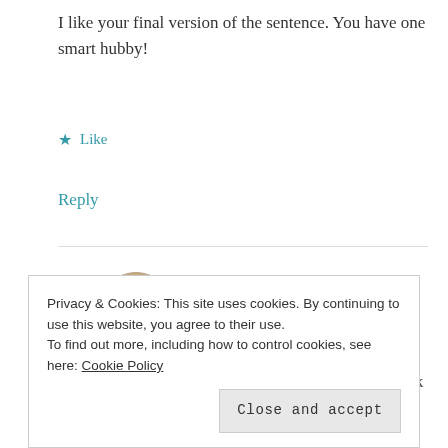I like your final version of the sentence. You have one smart hubby!
★ Like
Reply
jryates ▲
MARCH 18, 2015 AT 9:27 PM
Pete says, "You're right!" I chime in, "He did pick
Privacy & Cookies: This site uses cookies. By continuing to use this website, you agree to their use.
To find out more, including how to control cookies, see here: Cookie Policy
Close and accept